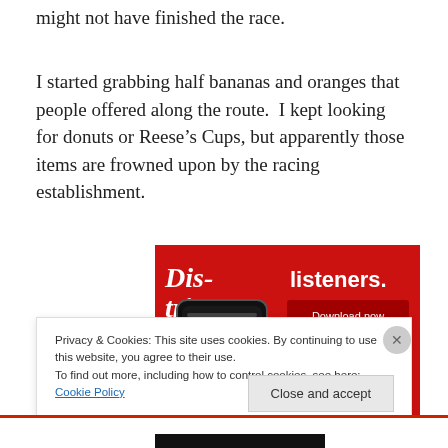might not have finished the race.
I started grabbing half bananas and oranges that people offered along the route.  I kept looking for donuts or Reese’s Cups, but apparently those items are frowned upon by the racing establishment.
[Figure (photo): Advertisement banner on red background showing a smartphone with a podcast app, text reads 'Distributed' on left, 'listeners.' and 'Download now' button on right.]
Privacy & Cookies: This site uses cookies. By continuing to use this website, you agree to their use.
To find out more, including how to control cookies, see here: Cookie Policy
Close and accept